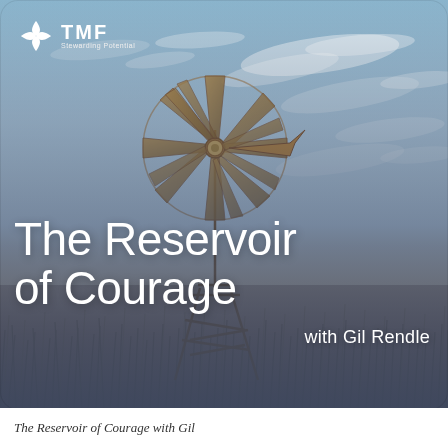[Figure (illustration): Podcast cover art showing a vintage windmill against a blue sky with wispy clouds, standing above dry prairie grass, with a dark blue gradient overlay in the lower half for text contrast. TMF (Stewarding Potential) logo in upper left. Large white text reads 'The Reservoir of Courage with Gil Rendle'.]
The Reservoir of Courage with Gil